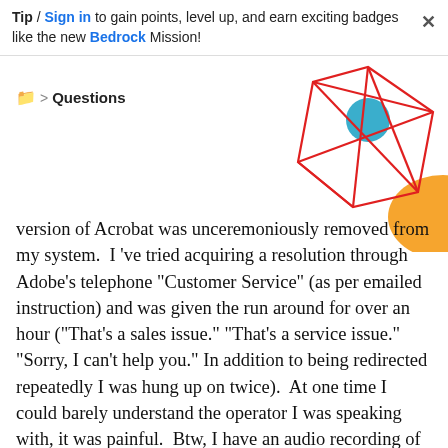Tip / Sign in to gain points, level up, and earn exciting badges like the new Bedrock Mission!
Questions
[Figure (illustration): Decorative geometric red wireframe cube/diamond shape with a teal circle and orange arc element]
version of Acrobat was unceremoniously removed from my system.  I 've tried acquiring a resolution through Adobe's telephone "Customer Service" (as per emailed instruction) and was given the run around for over an hour ("That's a sales issue." "That's a service issue." "Sorry, I can't help you." In addition to being redirected repeatedly I was hung up on twice).  At one time I could barely understand the operator I was speaking with, it was painful.  Btw, I have an audio recording of my experience if anyone would be interested in listening.  Anyway, before I throw in the towel and ask for my money back, can anyone here actually provide some Customer Service, or even give the impression that